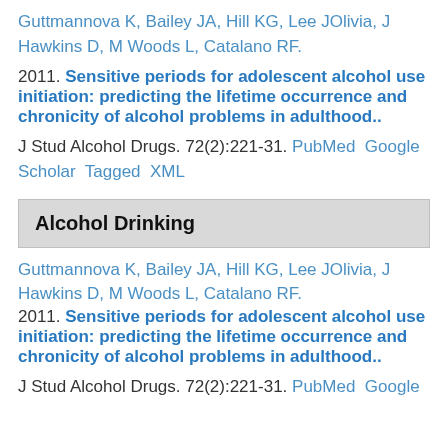Guttmannova K, Bailey JA, Hill KG, Lee JOlivia, J Hawkins D, M Woods L, Catalano RF.
2011. Sensitive periods for adolescent alcohol use initiation: predicting the lifetime occurrence and chronicity of alcohol problems in adulthood..
J Stud Alcohol Drugs. 72(2):221-31. PubMed Google Scholar Tagged XML
Alcohol Drinking
Guttmannova K, Bailey JA, Hill KG, Lee JOlivia, J Hawkins D, M Woods L, Catalano RF.
2011. Sensitive periods for adolescent alcohol use initiation: predicting the lifetime occurrence and chronicity of alcohol problems in adulthood..
J Stud Alcohol Drugs. 72(2):221-31. PubMed Google